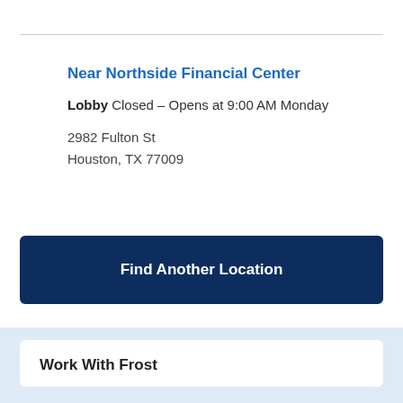Near Northside Financial Center
Lobby Closed – Opens at 9:00 AM Monday
2982 Fulton St
Houston, TX 77009
Find Another Location
Work With Frost